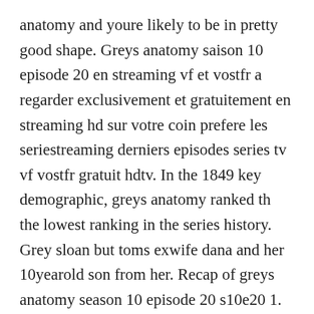anatomy and youre likely to be in pretty good shape. Greys anatomy saison 10 episode 20 en streaming vf et vostfr a regarder exclusivement et gratuitement en streaming hd sur votre coin prefere les seriestreaming derniers episodes series tv vf vostfr gratuit hdtv. In the 1849 key demographic, greys anatomy ranked th the lowest ranking in the series history. Grey sloan but toms exwife dana and her 10yearold son from her. Recap of greys anatomy season 10 episode 20 s10e20 1. Raver last appeared in the season 8 finale from content after she adopted...